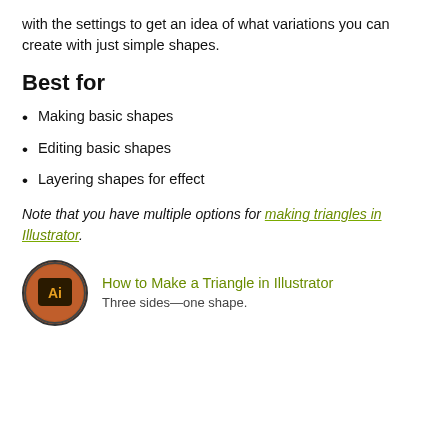with the settings to get an idea of what variations you can create with just simple shapes.
Best for
Making basic shapes
Editing basic shapes
Layering shapes for effect
Note that you have multiple options for making triangles in Illustrator.
[Figure (illustration): Adobe Illustrator app icon in a circular thumbnail with orange/brown background, showing the Ai logo in a square badge]
How to Make a Triangle in Illustrator
Three sides—one shape.